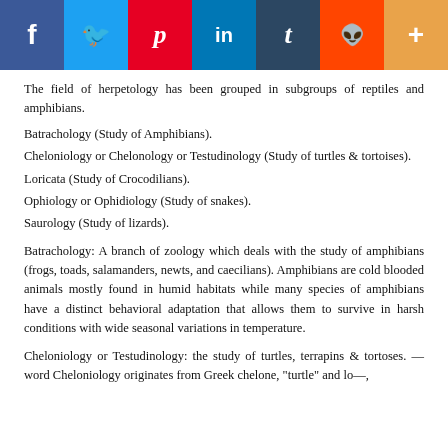[Figure (other): Social media sharing buttons bar: Facebook (blue), Twitter (light blue), Pinterest (red), LinkedIn (teal), Tumblr (dark blue), Reddit (orange-red), More/Plus (orange)]
The field of herpetology has been grouped in subgroups of reptiles and amphibians.
Batrachology (Study of Amphibians).
Cheloniology or Chelonology or Testudinology (Study of turtles & tortoises).
Loricata (Study of Crocodilians).
Ophiology or Ophidiology (Study of snakes).
Saurology (Study of lizards).
Batrachology: A branch of zoology which deals with the study of amphibians (frogs, toads, salamanders, newts, and caecilians). Amphibians are cold blooded animals mostly found in humid habitats while many species of amphibians have a distinct behavioral adaptation that allows them to survive in harsh conditions with wide seasonal variations in temperature.
Cheloniology or Testudinology: the study of turtles, terrapins & tortoses. The word Cheloniology originates from Greek chelone, "turtle" and lo...